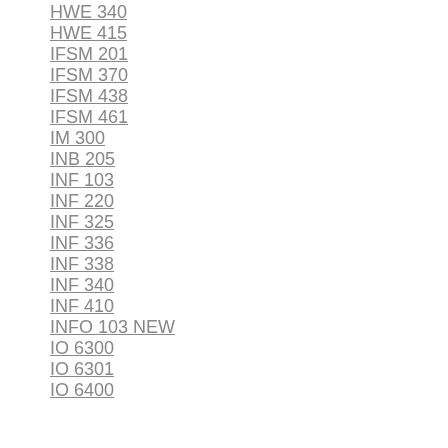HWE 340
HWE 415
IFSM 201
IFSM 370
IFSM 438
IFSM 461
IM 300
INB 205
INF 103
INF 220
INF 325
INF 336
INF 338
INF 340
INF 410
INFO 103 NEW
IO 6300
IO 6301
IO 6400